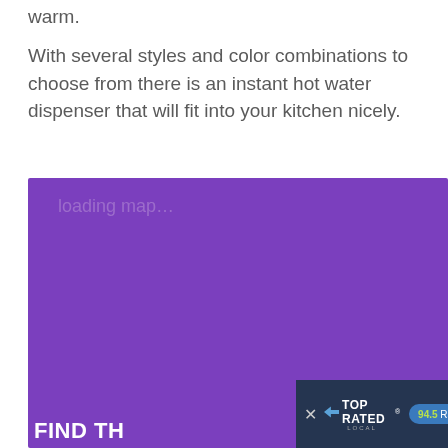warm.
With several styles and color combinations to choose from there is an instant hot water dispenser that will fit into your kitchen nicely.
[Figure (other): Purple loading placeholder box with 'loading map...' text overlay]
FIND TH
[Figure (infographic): Top Rated Local banner with close button, arrow logo, TOP RATED LOCAL branding, and 94.5 Rating Score badge in blue]